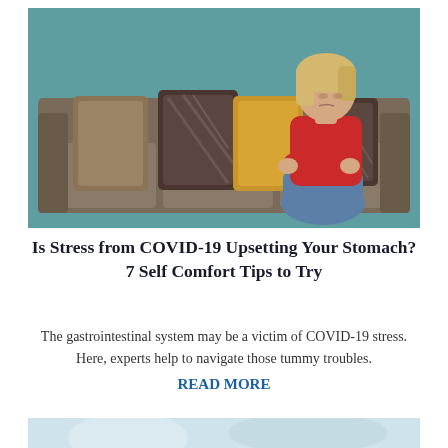[Figure (photo): Woman with blonde hair wearing a red shirt and blue jeans sitting on a gray sofa with decorative pillows, holding her stomach in discomfort, teal wall in background]
Is Stress from COVID-19 Upsetting Your Stomach? 7 Self Comfort Tips to Try
The gastrointestinal system may be a victim of COVID-19 stress. Here, experts help to navigate those tummy troubles.
READ MORE
[Figure (photo): Partial bottom image, light blue/white tones, partially visible]